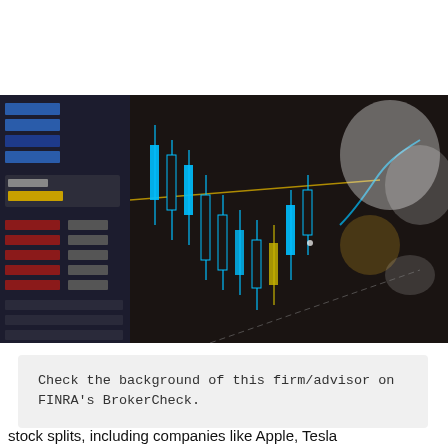[Figure (photo): Close-up photograph of a stock trading screen showing candlestick chart with blue and gold/yellow price movements, tick data on the left side with red and blue indicators, blurred background showing a person in white clothing. The chart displays financial market data.]
Check the background of this firm/advisor on FINRA's BrokerCheck.
stock splits, including companies like Apple, Tesla...